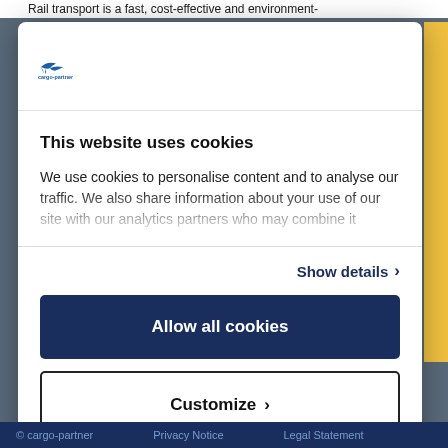Rail transport is a fast, cost-effective and environment-
[Figure (logo): cargo-partner logo with stylized bird/aircraft icon and text 'cargo-partner']
This website uses cookies
We use cookies to personalise content and to analyse our traffic. We also share information about your use of our site with our analytics partners who may combine it
Show details ›
Allow all cookies
Customize ›
Powered by Cookiebot by Usercentrics
© cargo-partner   Privacy Notice   Legal Statement